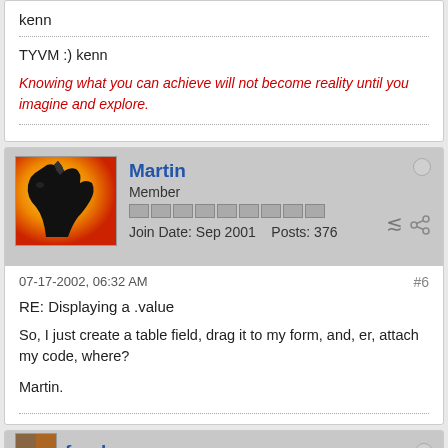kenn
TYVM :) kenn
Knowing what you can achieve will not become reality until you imagine and explore.
Martin
Member
Join Date: Sep 2001    Posts: 376
07-17-2002, 06:32 AM
#6
RE: Displaying a .value
So, I just create a table field, drag it to my form, and, er, attach my code, where?
Martin.
forakers